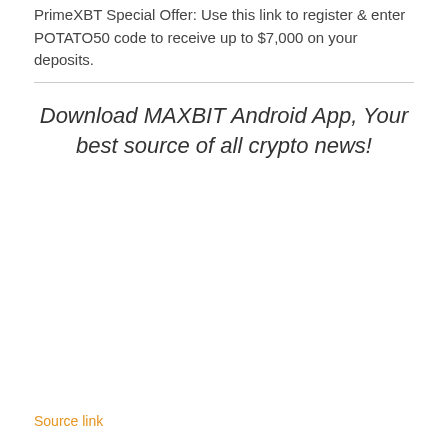PrimeXBT Special Offer: Use this link to register & enter POTATO50 code to receive up to $7,000 on your deposits.
Download MAXBIT Android App, Your best source of all crypto news!
Source link